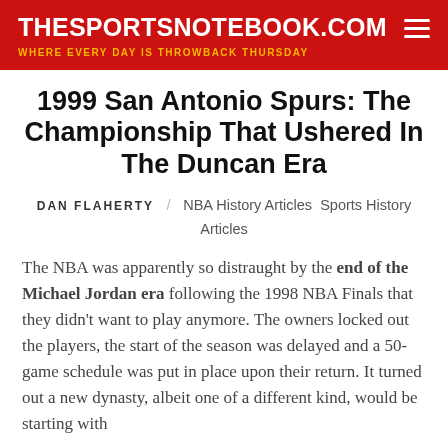THESPORTSNOTEBOOK.COM — WHERE EVERY DAY IS THROWBACK THURSDAY
1999 San Antonio Spurs: The Championship That Ushered In The Duncan Era
DAN FLAHERTY / NBA History Articles  Sports History Articles
The NBA was apparently so distraught by the end of the Michael Jordan era following the 1998 NBA Finals that they didn't want to play anymore. The owners locked out the players, the start of the season was delayed and a 50-game schedule was put in place upon their return. It turned out a new dynasty, albeit one of a different kind, would be starting with